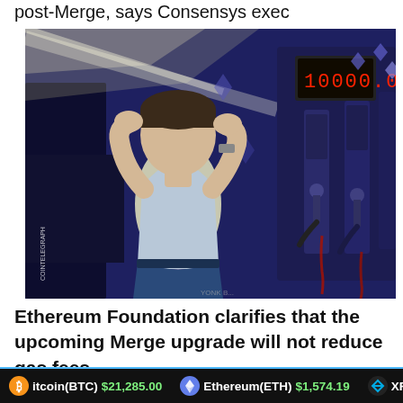post-Merge, says Consensys exec
[Figure (illustration): An illustration of a distressed man holding his head with hands at a gas station with multiple fuel pumps and a digital price display in the background. Art style is bold comic/cartoon, dark blue tones. Watermark: COINTELEGRAPH]
Ethereum Foundation clarifies that the upcoming Merge upgrade will not reduce gas fees
Bitcoin(BTC) $21,285.00   Ethereum(ETH) $1,574.19   XRP(XR...